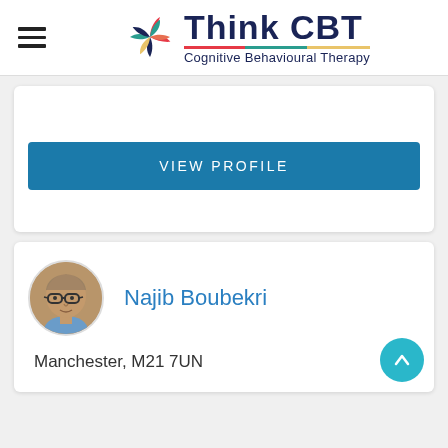Think CBT — Cognitive Behavioural Therapy
VIEW PROFILE
Najib Boubekri
Manchester, M21 7UN